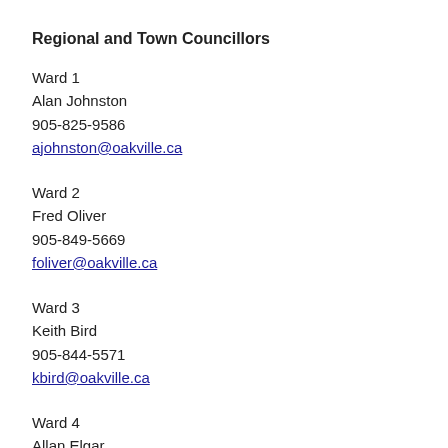Regional and Town Councillors
Ward 1
Alan Johnston
905-825-9586
ajbohnston@oakville.ca
Ward 2
Fred Oliver
905-849-5669
foliver@oakville.ca
Ward 3
Keith Bird
905-844-5571
kbird@oakville.ca
Ward 4
Allan Elgar
416-709-0082